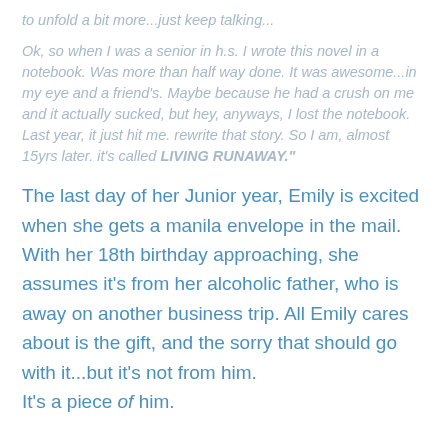to unfold a bit more...just keep talking...
Ok, so when I was a senior in h.s. I wrote this novel in a notebook. Was more than half way done. It was awesome...in my eye and a friend's. Maybe because he had a crush on me and it actually sucked, but hey, anyways, I lost the notebook. Last year, it just hit me. rewrite that story. So I am, almost 15yrs later. it's called LIVING RUNAWAY."
The last day of her Junior year, Emily is excited when she gets a manila envelope in the mail. With her 18th birthday approaching, she assumes it's from her alcoholic father, who is away on another business trip. All Emily cares about is the gift, and the sorry that should go with it...but it's not from him.
It's a piece of him.
?If you wanna read the rest of the synopsis click here!!"